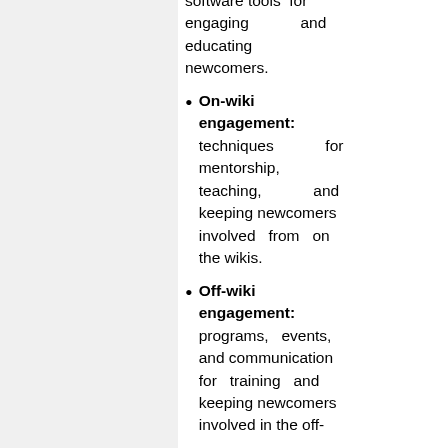software tools for engaging and educating newcomers.
On-wiki engagement: techniques for mentorship, teaching, and keeping newcomers involved from on the wikis.
Off-wiki engagement: programs, events, and communication for training and keeping newcomers involved in the off-